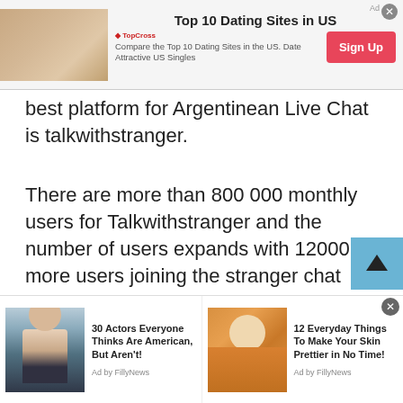[Figure (screenshot): Top advertisement banner: 'Top 10 Dating Sites in US' with TopCross logo, subtitle 'Compare the Top 10 Dating Sites in the US. Date Attractive US Singles', a red Sign Up button, and a decorative image on the left.]
best platform for Argentinean Live Chat is talkwithstranger.
There are more than 800 000 monthly users for Talkwithstranger and the number of users expands with 12000 more users joining the stranger chat app every day. These numbers are enough to estimate the popularity of the platform. Unlike most ordinary chat sites, Talkwithstranger allows you to chat for free to build real relationships , friendships, and connections with their free chat rooms where you can communicate with peop...
[Figure (screenshot): Bottom advertisement banner with two ad items: '30 Actors Everyone Thinks Are American, But Aren't! Ad by FillyNews' with photo of a man, and '12 Everyday Things To Make Your Skin Prettier in No Time! Ad by FillyNews' with photo of a woman with facial mask.]